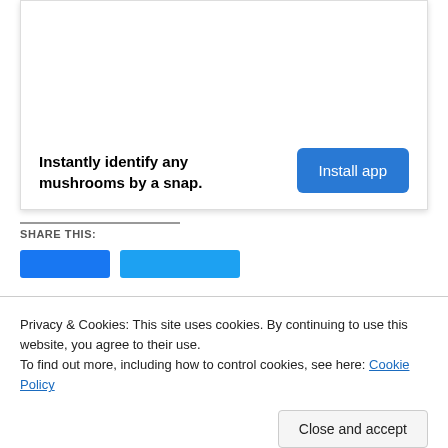[Figure (other): App banner with white background and shadow border, containing bold text and a blue Install app button]
Instantly identify any mushrooms by a snap.
Install app
SHARE THIS:
Privacy & Cookies: This site uses cookies. By continuing to use this website, you agree to their use.
To find out more, including how to control cookies, see here: Cookie Policy
Close and accept
RELATED